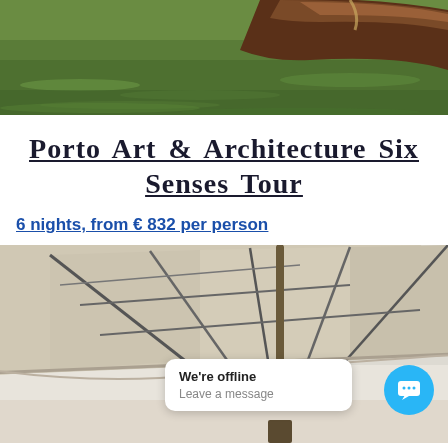[Figure (photo): Photograph of a wooden boat hull at a waterway with green water visible, cropped to show the lower portion of the boat and water.]
Porto Art & Architecture Six Senses Tour
6 nights, from € 832 per person
[Figure (photo): Photograph of a large beige/tan rectangular patio umbrella shot from below against a light sky, with a chat widget overlay showing 'We're offline / Leave a message'.]